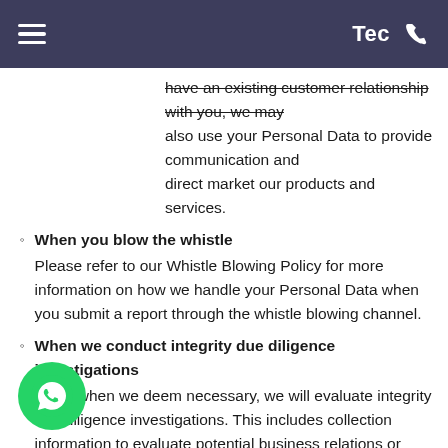Tec
have an existing customer relationship with you, we may also use your Personal Data to provide communication and direct market our products and services.
When you blow the whistle — Please refer to our Whistle Blowing Policy for more information on how we handle your Personal Data when you submit a report through the whistle blowing channel.
When we conduct integrity due diligence investigations — If and when we deem necessary, we will evaluate integrity due diligence investigations. This includes collection information to evaluate potential business relations or partners, their operation and business ethics. This investigation may include processing of Personal Data such as organisations position and roles, connections or relations to public authorities' representatives or relevant decision makers, possible sanction listings, contracts, relevant memberships, references, legal claims and reputational issues. The legal basis is to comply with legal